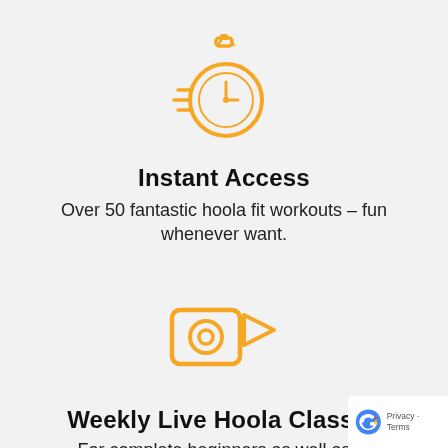[Figure (illustration): Orange/yellow stopwatch icon with speed lines on the left side, indicating fast access]
Instant Access
Over 50 fantastic hoola fit workouts – fun whenever want.
[Figure (illustration): Orange/yellow video camera icon]
Weekly Live Hoola Classes
For complete beginners as well as for intermediate beginners